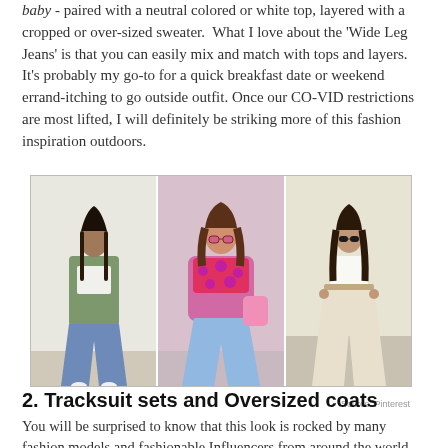baby - paired with a neutral colored or white top, layered with a cropped or over-sized sweater.  What I love about the 'Wide Leg Jeans' is that you can easily mix and match with tops and layers. It's probably my go-to for a quick breakfast date or weekend errand-itching to go outside outfit. Once our CO-VID restrictions are most lifted, I will definitely be striking more of this fashion inspiration outdoors.
[Figure (photo): Three fashion photos side by side showing women wearing wide leg jeans. Left: woman with braids in green flannel and white crop top with blue wide leg jeans. Center: woman in pink/red patterned top with light blue wide leg jeans. Right: woman in white tank top with cream/white wide leg trousers.]
Source: Pinterest
2. Tracksuit sets and Oversized coats
You will be surprised to know that this look is rocked by many fashion models and fashionable Influencers from around the world. #OOTD to #OOTN you can instantly pair your regular tracksuits (from something daggy or comfortable) with your classy over-